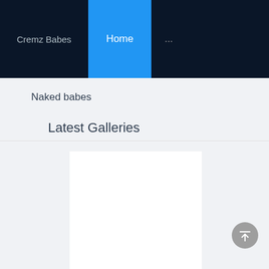Cremz Babes   Home   ...
Naked babes
Latest Galleries
[Figure (other): White rectangle placeholder for a gallery image thumbnail]